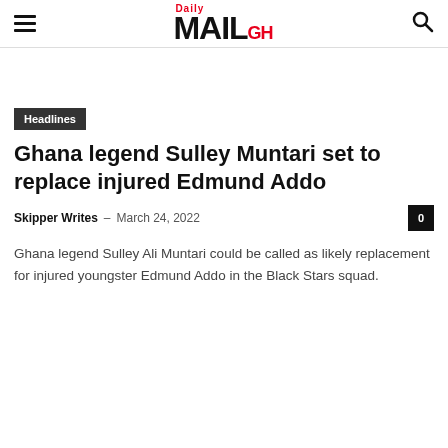Daily MAIL GH
Headlines
Ghana legend Sulley Muntari set to replace injured Edmund Addo
Skipper Writes – March 24, 2022
Ghana legend Sulley Ali Muntari could be called as likely replacement for injured youngster Edmund Addo in the Black Stars squad.